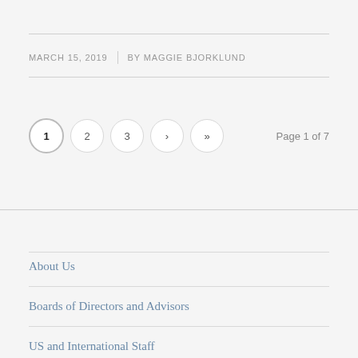MARCH 15, 2019 | BY MAGGIE BJORKLUND
1 2 3 › »   Page 1 of 7
About Us
Boards of Directors and Advisors
US and International Staff